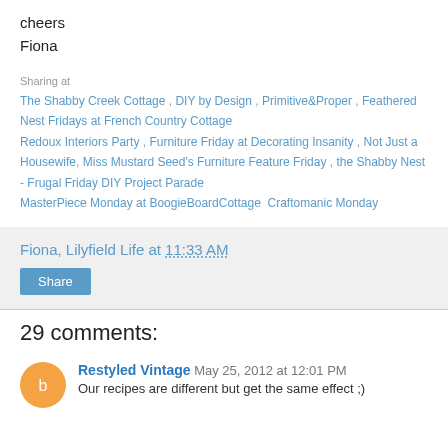cheers
Fiona
Sharing at
The Shabby Creek Cottage , DIY by Design , Primitive&Proper , Feathered Nest Fridays at French Country Cottage
Redoux Interiors Party , Furniture Friday at Decorating Insanity , Not Just a Housewife , Miss Mustard Seed's Furniture Feature Friday , the Shabby Nest - Frugal Friday DIY Project Parade
MasterPiece Monday at BoogieBoardCottage  Craftomanic Monday
Fiona, Lilyfield Life at 11:33 AM
Share
29 comments:
Restyled Vintage  May 25, 2012 at 12:01 PM
Our recipes are different but get the same effect ;)